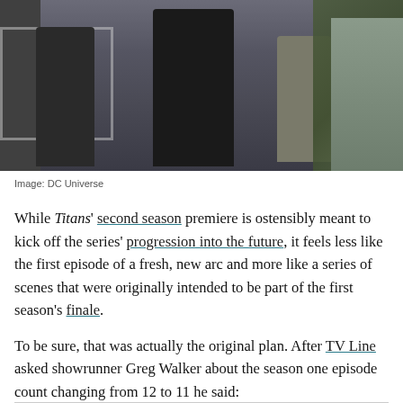[Figure (photo): Group of people walking together outdoors, dressed in dark clothing, with a white fence and trees in the background.]
Image: DC Universe
While Titans' second season premiere is ostensibly meant to kick off the series' progression into the future, it feels less like the first episode of a fresh, new arc and more like a series of scenes that were originally intended to be part of the first season's finale.
To be sure, that was actually the original plan. After TV Line asked showrunner Greg Walker about the season one episode count changing from 12 to 11 he said: